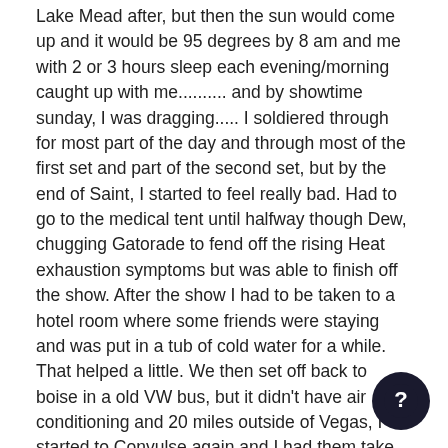Lake Mead after, but then the sun would come up and it would be 95 degrees by 8 am and me with 2 or 3 hours sleep each evening/morning caught up with me.......... and by showtime sunday, I was dragging..... I soldiered through for most part of the day and through most of the first set and part of the second set, but by the end of Saint, I started to feel really bad. Had to go to the medical tent until halfway though Dew, chugging Gatorade to fend off the rising Heat exhaustion symptoms but was able to finish off the show. After the show I had to be taken to a hotel room where some friends were staying and was put in a tub of cold water for a while. That helped a little. We then set off back to boise in a old VW bus, but it didn't have air conditioning and 20 miles outside of Vegas, I started to Convulse again and I had them take me back to Vegas where I got a room, cranked the AC and got a flight back to Boise the next day. Still can't handle the heat very well now....... Back to the show...... Even with my problems that night, I was just mesmerized by this show. Sure there were some sore spots..... So many roads, Tom thumbs and Victim is not my fav, but this one had some nice jams. Rest was phenomenal in my eyes. I pondered some of the reviews here and the only thing I can say is for people who were there and it did not do if for them, is that some things just